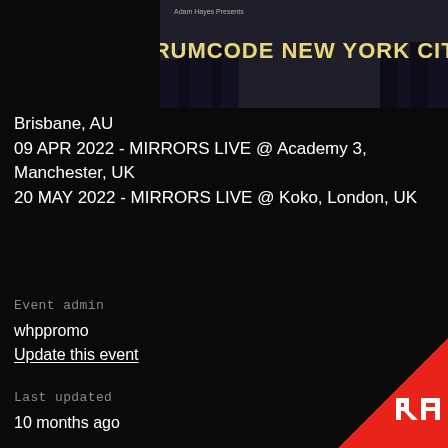[Figure (photo): Banner image for Drumcode New York City event with dark cityscape background and bold yellow/cream text reading 'DRUMCODE NEW YORK CITY']
Brisbane, AU
09 APR 2022 - MIRRORS LIVE @ Academy 3, Manchester, UK
20 MAY 2022 - MIRRORS LIVE @ Koko, London, UK
Event admin
whppromo
Update this event
Last updated
10 months ago
Cost
£15
[Figure (logo): Resident Advisor (RA) logo in white on red triangle corner decoration]